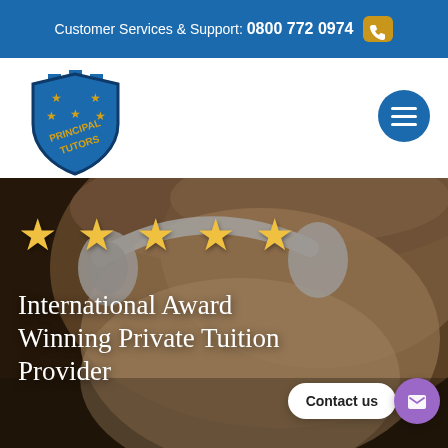Customer Services & Support: 0800 772 0974
[Figure (logo): Principal Tutors shield logo — blue shield with gold stars and gold text 'PRINCIPAL TUTORS']
[Figure (photo): Close-up of a young child wearing white headphones, warm blurred background]
★★★★★
International Award Winning Private Tuition Provider
Contact us